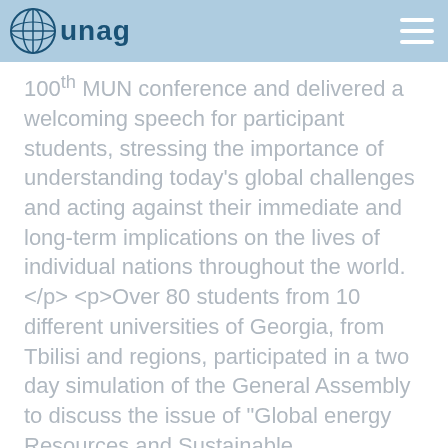unag
100th MUN conference and delivered a welcoming speech for participant students, stressing the importance of understanding today's global challenges and acting against their immediate and long-term implications on the lives of individual nations throughout the world. Over 80 students from 10 different universities of Georgia, from Tbilisi and regions, participated in a two day simulation of the General Assembly to discuss the issue of "Global energy Resources and Sustainable Development". Participants excelled in employing creative thinking and diplomatic action while elaborating different interesting ideas on